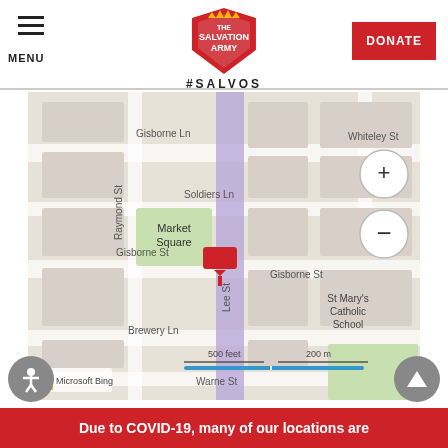MENU | The Salvation Army #SALVOS | DONATE
[Figure (map): Street map showing location near Market Square, Gisborne St, Lee St, Soldiers Ln, Raymond St, Brewery Ln, Warne St, Whiteley St, St Mary's Catholic School. A red map pin marks the Salvation Army location on Gisborne St. Map includes zoom in/out controls and Microsoft Bing attribution with scale bar showing 500 feet / 200 m.]
Back to search  |  Other centres near here
Due to COVID-19, many of our locations are